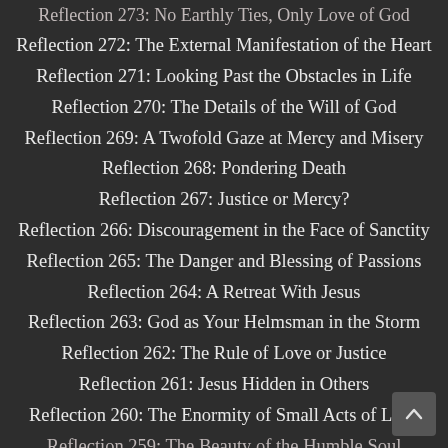Reflection 273: No Earthly Ties, Only Love of God
Reflection 272: The External Manifestation of the Heart
Reflection 271: Looking Past the Obstacles in Life
Reflection 270: The Details of the Will of God
Reflection 269: A Twofold Gaze at Mercy and Misery
Reflection 268: Pondering Death
Reflection 267: Justice or Mercy?
Reflection 266: Discouragement in the Face of Sanctity
Reflection 265: The Danger and Blessing of Passions
Reflection 264: A Retreat With Jesus
Reflection 263: God as Your Helmsman in the Storm
Reflection 262: The Rule of Love or Justice
Reflection 261: Jesus Hidden in Others
Reflection 260: The Enormity of Small Acts of Love
Reflection 259: The Beauty of the Humble Soul